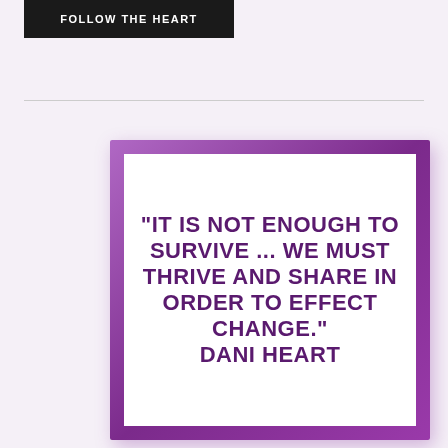FOLLOW THE HEART
[Figure (illustration): A framed poster with a purple border on a light purple/white background containing a quote in bold dark purple uppercase text: "IT IS NOT ENOUGH TO SURVIVE ... WE MUST THRIVE AND SHARE IN ORDER TO EFFECT CHANGE." DANI HEART]